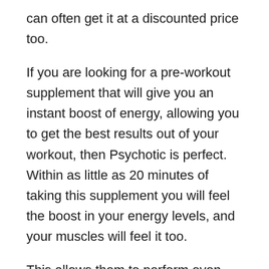can often get it at a discounted price too.
If you are looking for a pre-workout supplement that will give you an instant boost of energy, allowing you to get the best results out of your workout, then Psychotic is perfect. Within as little as 20 minutes of taking this supplement you will feel the boost in your energy levels, and your muscles will feel it too.
This allows them to perform even better, meaning that you can push yourself that bit further every time that you exercise.
But, from our experience, the best thing about Psychotic is the flavor. A lot of pre-workout supplements taste absolutely awful, and it can make